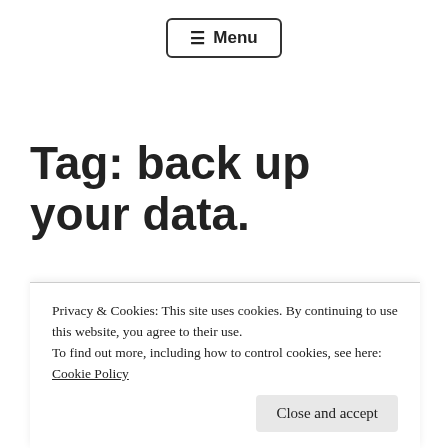☰ Menu
Tag: back up your data.
Everything You Need to
Privacy & Cookies: This site uses cookies. By continuing to use this website, you agree to their use. To find out more, including how to control cookies, see here: Cookie Policy
Close and accept